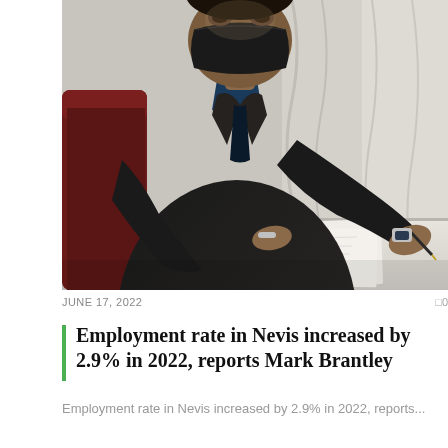[Figure (photo): A man in a black suit and black face mask, leaning over a table and signing documents with a pen, with a dark red chair visible on the left and white curtains in the background.]
JUNE 17, 2022
0
Employment rate in Nevis increased by 2.9% in 2022, reports Mark Brantley
Employment rate in Nevis increased by 2.9% in 2022, reports...